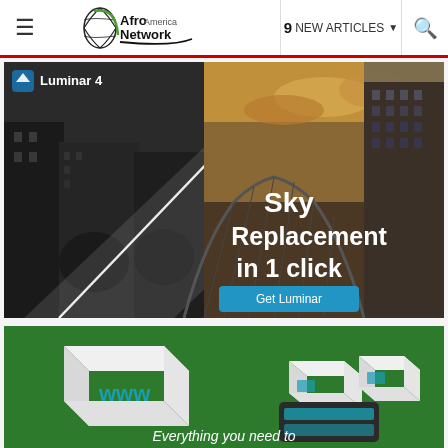≡  Afro America Network  9 NEW ARTICLES ▾  🔍
[Figure (screenshot): Luminar 4 advertisement showing sky replacement feature. Left half shows black-and-white city photo, right half shows colorized version with dramatic sky through Manhattan Bridge arch. Text reads 'Sky Replacement in 1 click' with a blue 'Get Luminar' button. Luminar 4 logo and icon in top-left corner.]
[Figure (screenshot): Web hosting advertisement on green background. Shows 3D rendered white cube boxes with 'www' text and smaller storage/hosting box below. Text at bottom reads 'Everything you need to']